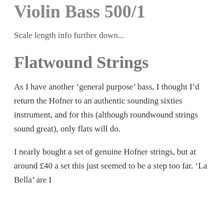Violin Bass 500/1
Scale length info further down...
Flatwound Strings
As I have another ‘general purpose’ bass, I thought I’d return the Hofner to an authentic sounding sixties instrument, and for this (although roundwound strings sound great), only flats will do.
I nearly bought a set of genuine Hofner strings, but at around £40 a set this just seemed to be a step too far. ‘La Bella’ are I